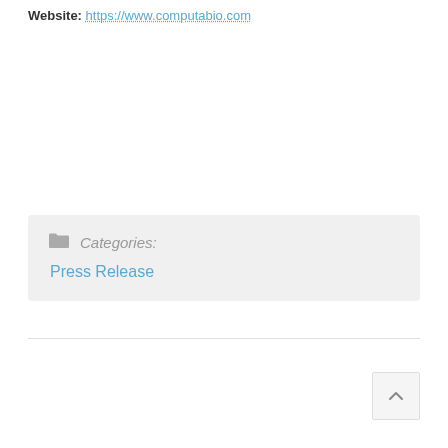Website: https://www.computabio.com
Categories: Press Release
Press Release